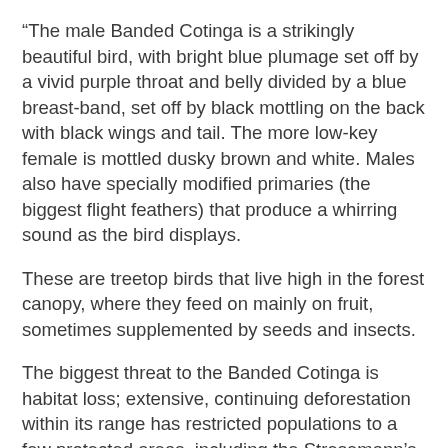“The male Banded Cotinga is a strikingly beautiful bird, with bright blue plumage set off by a vivid purple throat and belly divided by a blue breast-band, set off by black mottling on the back with black wings and tail. The more low-key female is mottled dusky brown and white. Males also have specially modified primaries (the biggest flight feathers) that produce a whirring sound as the bird displays.
These are treetop birds that live high in the forest canopy, where they feed on mainly on fruit, sometimes supplemented by seeds and insects.
The biggest threat to the Banded Cotinga is habitat loss; extensive, continuing deforestation within its range has restricted populations to a few protected areas, including the Stresemann’s Bristlefront Reserve, managed by ABC’s partner Fundação Biodiversitas. These birds have been collected for their feathers by local indigenous people, and capture for the cage-bird trade has also posed a threat.
Recommended conservation measures that will benefit this lovely species include surveying areas of suitable habitat within its range to locate further populations, continuing